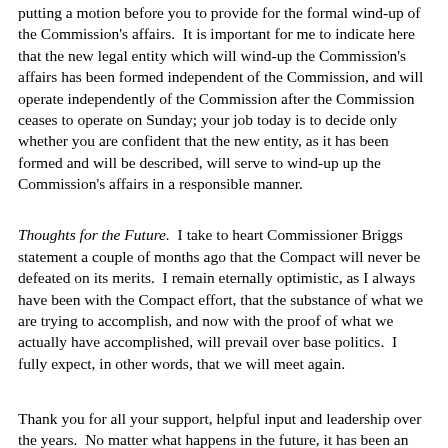putting a motion before you to provide for the formal wind-up of the Commission's affairs. It is important for me to indicate here that the new legal entity which will wind-up the Commission's affairs has been formed independent of the Commission, and will operate independently of the Commission after the Commission ceases to operate on Sunday; your job today is to decide only whether you are confident that the new entity, as it has been formed and will be described, will serve to wind-up up the Commission's affairs in a responsible manner.
Thoughts for the Future. I take to heart Commissioner Briggs statement a couple of months ago that the Compact will never be defeated on its merits. I remain eternally optimistic, as I always have been with the Compact effort, that the substance of what we are trying to accomplish, and now with the proof of what we actually have accomplished, will prevail over base politics. I fully expect, in other words, that we will meet again.
Thank you for all your support, helpful input and leadership over the years. No matter what happens in the future, it has been an honor to have worked with all of you on the Compact.